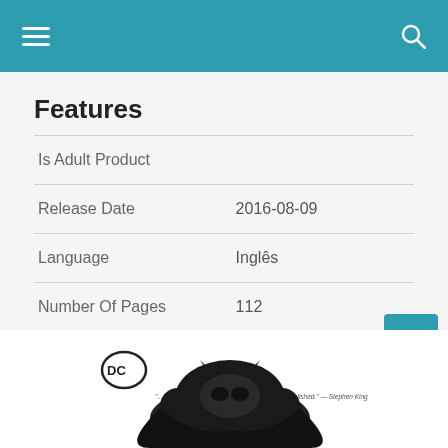Navigation bar with hamburger menu and search icon
Features
|  |  |
| --- | --- |
| Is Adult Product |  |
| Release Date | 2016-08-09 |
| Language | Inglês |
| Number Of Pages | 112 |
| Publication Date | 2016-08-09 |
| Format | eBook Kindle |
[Figure (illustration): DC Comics logo and partial Batman book cover illustration at the bottom of the page]